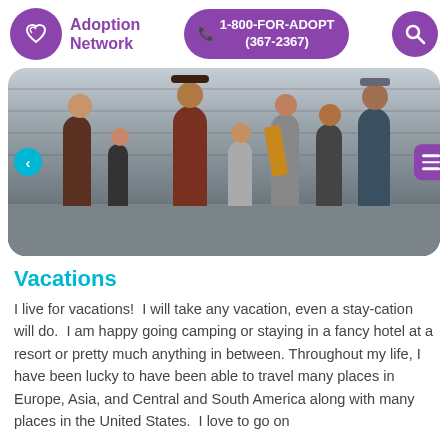Adoption Network | 1-800-FOR-ADOPT (367-2367)
[Figure (photo): Group of adults and children posing together outdoors near a stone wall, including a person in a brown vintage suit and hat. A family vacation photo.]
Vacations
I live for vacations!  I will take any vacation, even a stay-cation will do.  I am happy going camping or staying in a fancy hotel at a resort or pretty much anything in between. Throughout my life, I have been lucky to have been able to travel many places in Europe, Asia, and Central and South America along with many places in the United States.  I love to go on